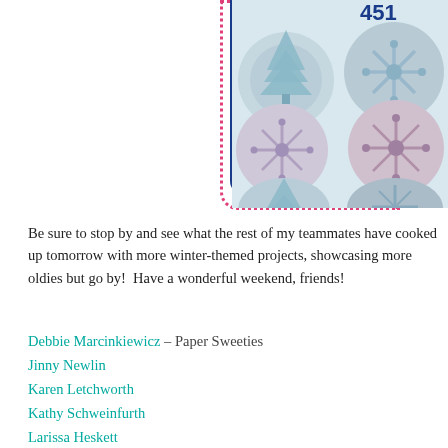[Figure (photo): Photo of winter-themed cupcakes decorated with blue and white frosting in tree and snowflake patterns, shown from above. There is a pink dotted border and a dark blue solid border framing the image area.]
Be sure to stop by and see what the rest of my teammates have cooked up tomorrow with more winter-themed projects, showcasing more oldies but go... by!  Have a wonderful weekend, friends!
Debbie Marcinkiewicz – Paper Sweeties
Jinny Newlin
Karen Letchworth
Kathy Schweinfurth
Larissa Heskett
Lisa Bzibziak
Lori Turner
Mackie Robertson